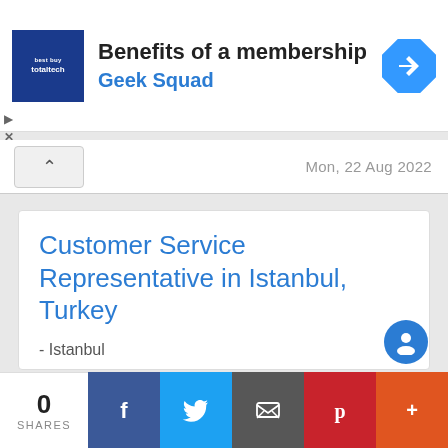[Figure (screenshot): Advertisement banner for Best Buy Total Tech membership featuring 'Benefits of a membership' headline with Geek Squad subtitle and navigation arrow icon]
Mon, 22 Aug 2022
Customer Service Representative in Istanbul, Turkey
- Istanbul
Durch unsere engagierten Mitarbeiter liefert Conduent unternehmenskritische Dienstleistungen und Lösungen im Auftrag von
0 SHARES | Facebook | Twitter | Email | Pinterest | More